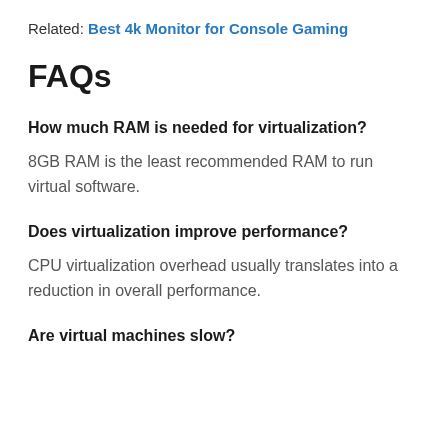Related: Best 4k Monitor for Console Gaming
FAQs
How much RAM is needed for virtualization?
8GB RAM is the least recommended RAM to run virtual software.
Does virtualization improve performance?
CPU virtualization overhead usually translates into a reduction in overall performance.
Are virtual machines slow?